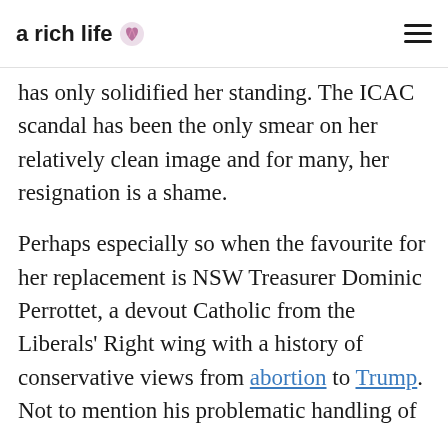a rich life 🌸
the Black Summer bushfires of 2019-2020 in NSW. Her leadership through the pandemic has only solidified her standing. The ICAC scandal has been the only smear on her relatively clean image and for many, her resignation is a shame.
Perhaps especially so when the favourite for her replacement is NSW Treasurer Dominic Perrottet, a devout Catholic from the Liberals' Right wing with a history of conservative views from abortion to Trump. Not to mention his problematic handling of issues and the NSW Government Fund…